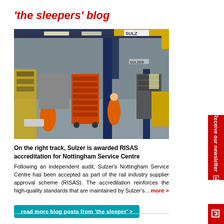'the sleepers' blog
[Figure (photo): Interior of Sulzer Nottingham Service Centre showing workers in orange overalls working with tool trolleys and equipment under blue overhead cranes in an industrial facility with SULZ branding visible.]
On the right track, Sulzer is awarded RISAS accreditation for Nottingham Service Centre
Following an independent audit, Sulzer's Nottingham Service Centre has been accepted as part of the rail industry supplier approval scheme (RISAS). The accreditation reinforces the high-quality standards that are maintained by Sulzer's... more >
read more blog posts from 'the sleeper' >